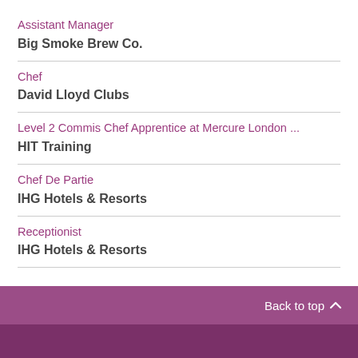Assistant Manager
Big Smoke Brew Co.
Chef
David Lloyd Clubs
Level 2 Commis Chef Apprentice at Mercure London ...
HIT Training
Chef De Partie
IHG Hotels & Resorts
Receptionist
IHG Hotels & Resorts
Back to top